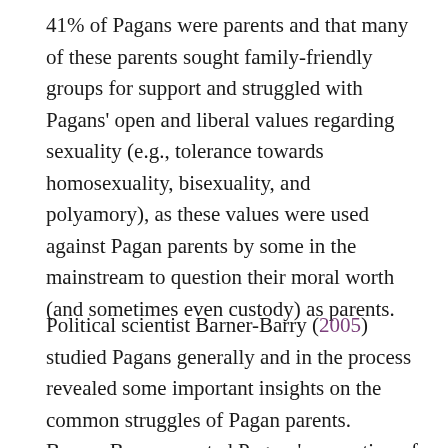41% of Pagans were parents and that many of these parents sought family-friendly groups for support and struggled with Pagans' open and liberal values regarding sexuality (e.g., tolerance towards homosexuality, bisexuality, and polyamory), as these values were used against Pagan parents by some in the mainstream to question their moral worth (and sometimes even custody) as parents.
Political scientist Barner-Barry (2005) studied Pagans generally and in the process revealed some important insights on the common struggles of Pagan parents. Barner-Barry reported Pagans' perception of fear and threat of prejudice and discrimination looming in their daily lives. Barner-Barry also documented Pagans' distrust in mainstream social institutions, as a result